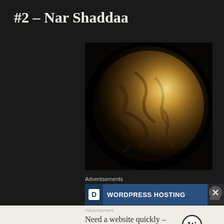#2 – Nar Shaddaa
[Figure (photo): A dark, brownish-gold planet against a black space background, resembling a rocky or urban moon with surface details visible]
Advertisements
[Figure (screenshot): WordPress Hosting advertisement banner with blue background and white bold text]
Advertisement
Need a website quickly – and on a budget?